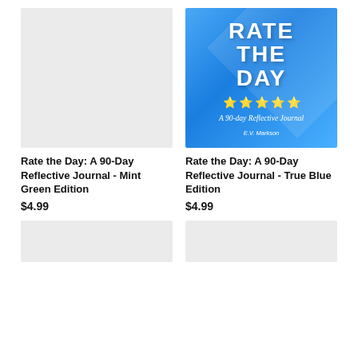[Figure (illustration): Book cover placeholder - light grey blank cover for Mint Green Edition]
Rate the Day: A 90-Day Reflective Journal - Mint Green Edition
$4.99
[Figure (illustration): Book cover - blue background with white bold text RATE THE DAY, yellow star ratings, subtitle A 90-day Reflective Journal, author E.V. Markson]
Rate the Day: A 90-Day Reflective Journal - True Blue Edition
$4.99
[Figure (illustration): Partial book cover placeholder at bottom left - grey]
[Figure (illustration): Partial book cover placeholder at bottom right - grey]